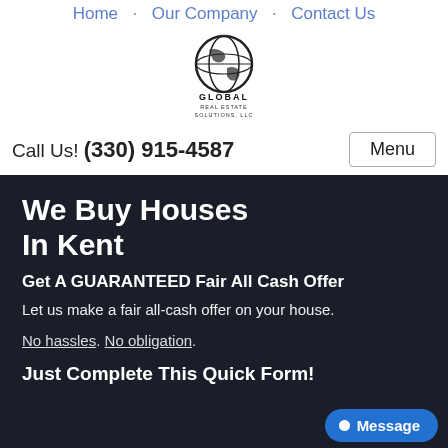Home · Our Company · Contact Us
[Figure (logo): Global Real Estate Solutions, LLC logo with globe icon]
Call Us! (330) 915-4587
Menu
We Buy Houses In Kent
Get A GUARANTEED Fair All Cash Offer
Let us make a fair all-cash offer on your house.
No hassles. No obligation.
Just Complete This Quick Form!
Message
Get a Fair Cash Offer on Your Home in